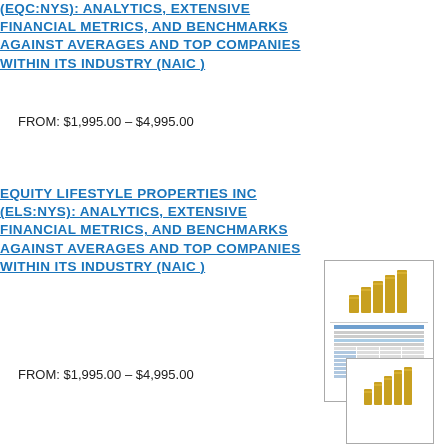(EQC:NYS): ANALYTICS, EXTENSIVE FINANCIAL METRICS, AND BENCHMARKS AGAINST AVERAGES AND TOP COMPANIES WITHIN ITS INDUSTRY (NAIC )
FROM: $1,995.00 – $4,995.00
[Figure (other): Thumbnail image of a financial report document with gold bar chart icon on top]
EQUITY LIFESTYLE PROPERTIES INC (ELS:NYS): ANALYTICS, EXTENSIVE FINANCIAL METRICS, AND BENCHMARKS AGAINST AVERAGES AND TOP COMPANIES WITHIN ITS INDUSTRY (NAIC )
FROM: $1,995.00 – $4,995.00
[Figure (other): Thumbnail image of a financial report document with gold bar chart icon on top (partially visible)]